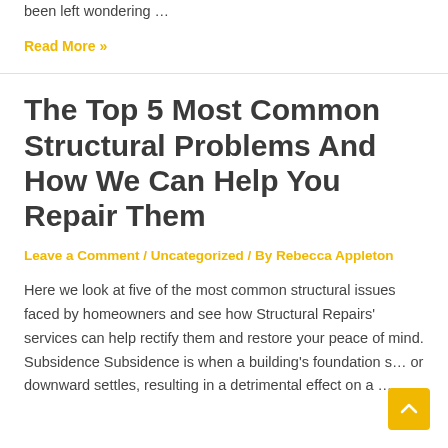been left wondering …
Read More »
The Top 5 Most Common Structural Problems And How We Can Help You Repair Them
Leave a Comment / Uncategorized / By Rebecca Appleton
Here we look at five of the most common structural issues faced by homeowners and see how Structural Repairs' services can help rectify them and restore your peace of mind. Subsidence Subsidence is when a building's foundation s… or downward settles, resulting in a detrimental effect on a …